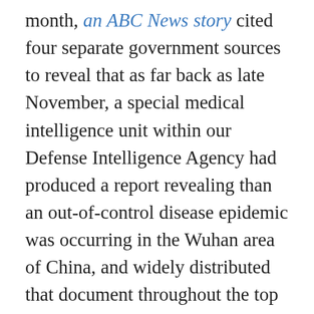month, an ABC News story cited four separate government sources to reveal that as far back as late November, a special medical intelligence unit within our Defense Intelligence Agency had produced a report revealing than an out-of-control disease epidemic was occurring in the Wuhan area of China, and widely distributed that document throughout the top ranks of our government, warning that steps should be taken to protect US forces based in Asia. After the story aired, a Pentagon spokesman officially denied the existence of that November report, while various other top level government and intelligence officials refused to comment. But a few days later, Israeli television revealed that in November American intelligence had indeed shared such a report on the Wuhan disease outbreak with its NATO and Israeli allies, thus seeming